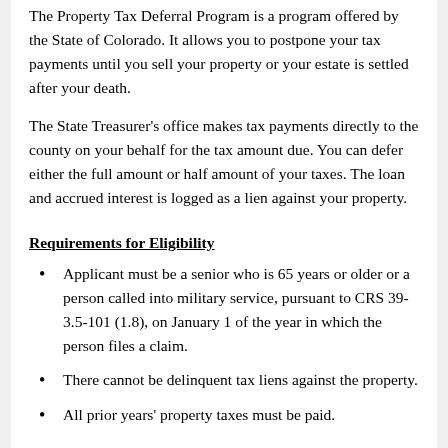The Property Tax Deferral Program is a program offered by the State of Colorado. It allows you to postpone your tax payments until you sell your property or your estate is settled after your death.
The State Treasurer's office makes tax payments directly to the county on your behalf for the tax amount due. You can defer either the full amount or half amount of your taxes. The loan and accrued interest is logged as a lien against your property.
Requirements for Eligibility
Applicant must be a senior who is 65 years or older or a person called into military service, pursuant to CRS 39-3.5-101 (1.8), on January 1 of the year in which the person files a claim.
There cannot be delinquent tax liens against the property.
All prior years' property taxes must be paid.